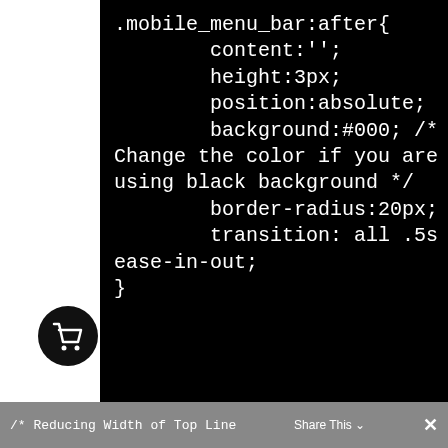[Figure (screenshot): Code snippet on a black background showing CSS for .mobile_menu_bar:after including content, height, position, background with comment about changing color for black background, border-radius, and transition properties, followed by closing brace.]
/* Reducing Width of Top Line   Share This  ×